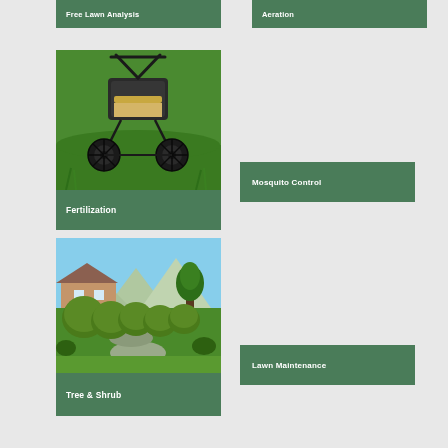[Figure (other): Service card label: Free Lawn Analysis on green background]
[Figure (other): Service card label: Aeration on green background]
[Figure (photo): Photo of a lawn fertilizer spreader on green grass with label Fertilization]
[Figure (other): Service card label: Mosquito Control on green background]
[Figure (photo): Photo of a manicured garden with shaped hedges and green lawn with label Tree & Shrub]
[Figure (other): Service card label: Lawn Maintenance on green background]